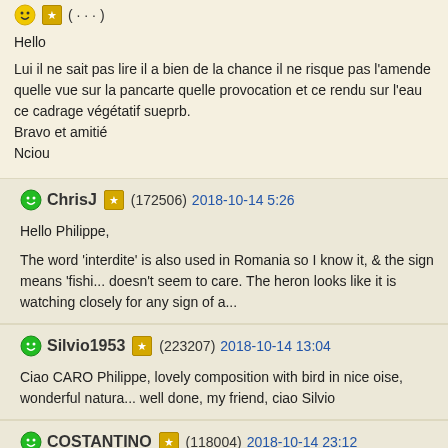Hello

Lui il ne sait pas lire il a bien de la chance il ne risque pas l'amende quelle vue sur la pancarte quelle provocation et ce rendu sur l'eau ce cadrage végétatif sueprb. Bravo et amitié
Nciou
ChrisJ (172506) 2018-10-14 5:26

Hello Philippe,

The word 'interdite' is also used in Romania so I know it, & the sign means 'fishi... doesn't seem to care. The heron looks like it is watching closely for any sign of a...
Silvio1953 (223207) 2018-10-14 13:04

Ciao CARO Philippe, lovely composition with bird in nice oise, wonderful natura... well done, my friend, ciao Silvio
COSTANTINO (118004) 2018-10-14 23:12

Salut Philippe
bon moment capturer...